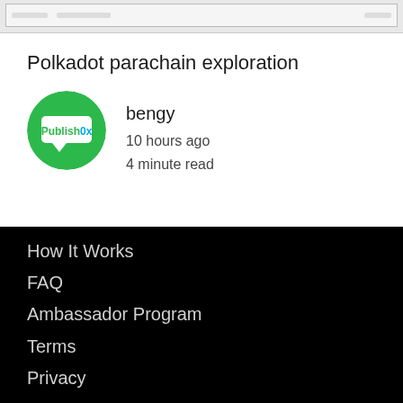[Figure (screenshot): Screenshot thumbnail of a webpage at the top of the page]
Polkadot parachain exploration
bengy
10 hours ago
4 minute read
How It Works
FAQ
Ambassador Program
Terms
Privacy